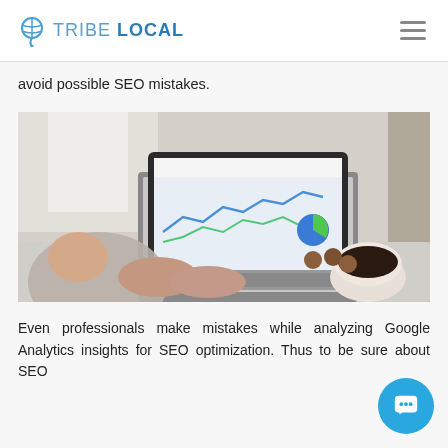TRIBE LOCAL
avoid possible SEO mistakes.
[Figure (photo): Person typing on a laptop showing Google Analytics dashboard with charts and a pie chart, with a coffee cup and cookies on the desk nearby.]
Even professionals make mistakes while analyzing Google Analytics insights for SEO optimization. Thus to be sure about SEO